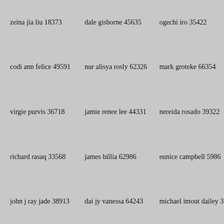zeina jia liu 18373
dale gisborne 45635
ogechi iro 35422
codi ann felice 49591
nur alisya rosly 62326
mark groteke 66354
virgie purvis 36718
jamie renee lee 44331
nereida rosado 39322
richard rasaq 33568
james billia 62986
eunice campbell 5986
john j ray jade 38913
dai jy vanessa 64243
michael imout dailey 3